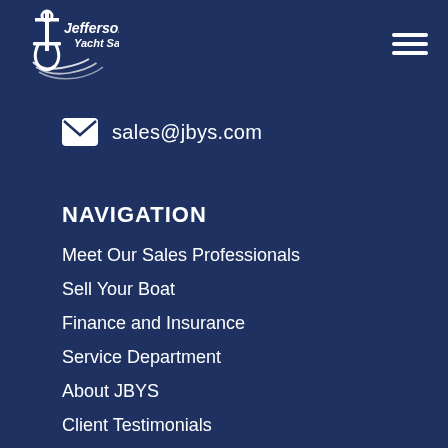[Figure (logo): Jefferson Beach Yacht Sales logo with anchor/boat graphic and text]
sales@jbys.com
NAVIGATION
Meet Our Sales Professionals
Sell Your Boat
Finance and Insurance
Service Department
About JBYS
Client Testimonials
Contact Us